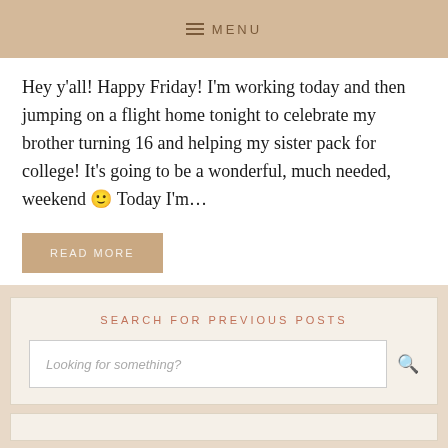MENU
Hey y'all! Happy Friday! I'm working today and then jumping on a flight home tonight to celebrate my brother turning 16 and helping my sister pack for college! It's going to be a wonderful, much needed, weekend 🙂 Today I'm…
READ MORE
SEARCH FOR PREVIOUS POSTS
Looking for something?